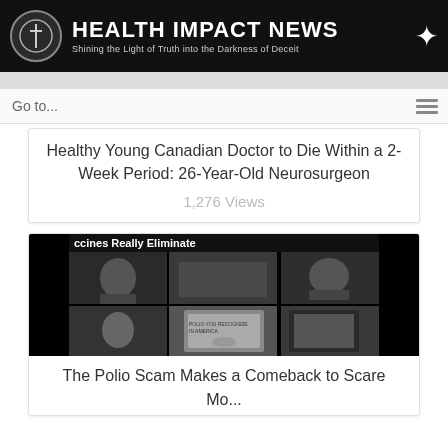HEALTH IMPACT NEWS — Shining the Light of Truth into the Darkness of Deceit
Go to...
Healthy Young Canadian Doctor to Die Within a 2-Week Period: 26-Year-Old Neurosurgeon
1,276 Views
[Figure (photo): Black and white collage image with text 'ccines Really Eliminate' at top, showing multiple historical photographs related to polio and vaccines]
The Polio Scam Makes a Comeback to Scare Mo...